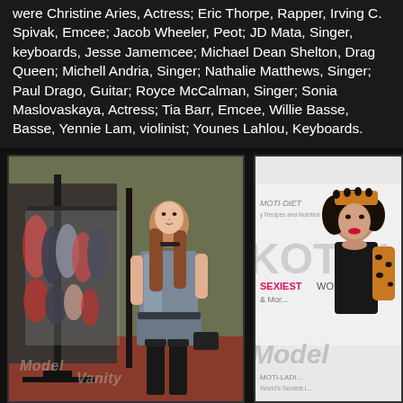were Christine Aries, Actress; Eric Thorpe, Rapper, Irving C. Spivak, Emcee; Jacob Wheeler, Peot; JD Mata, Singer, keyboards, Jesse Jamemcee; Michael Dean Shelton, Drag Queen; Michell Andria, Singer; Nathalie Matthews, Singer; Paul Drago, Guitar; Royce McCalman, Singer; Sonia Maslovaskaya, Actress; Tia Barr, Emcee, Willie Basse, Basse, Yennie Lam, violinist; Younes Lahlou, Keyboards.
[Figure (photo): Woman in silver metallic dress posing next to a rack of lingerie/clothing in what appears to be an indoor venue. Watermark reads MODEL VANITY.]
[Figure (photo): Woman in leopard print outfit at an event with MOTIFI signage visible in the background. Watermark reads MODEL.]